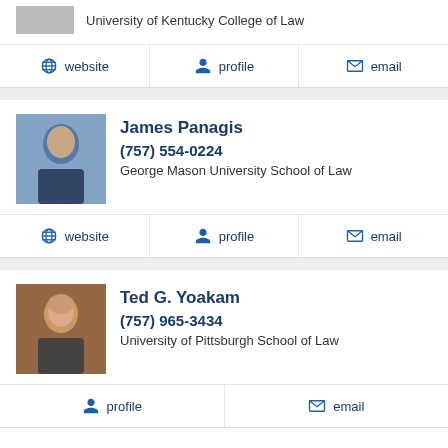University of Kentucky College of Law
website  profile  email
James Panagis
(757) 554-0224
George Mason University School of Law
website  profile  email
Ted G. Yoakam
(757) 965-3434
University of Pittsburgh School of Law
profile  email